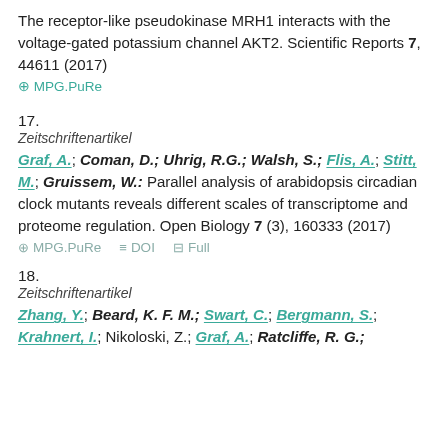The receptor-like pseudokinase MRH1 interacts with the voltage-gated potassium channel AKT2. Scientific Reports 7, 44611 (2017)
⊕ MPG.PuRe
17.
Zeitschriftenartikel
Graf, A.; Coman, D.; Uhrig, R.G.; Walsh, S.; Flis, A.; Stitt, M.; Gruissem, W.: Parallel analysis of arabidopsis circadian clock mutants reveals different scales of transcriptome and proteome regulation. Open Biology 7 (3), 160333 (2017)
⊕ MPG.PuRe  ≡ DOI  ⊟ Full
18.
Zeitschriftenartikel
Zhang, Y.; Beard, K. F. M.; Swart, C.; Bergmann, S.; Krahnert, I.; Nikoloski, Z.; Graf, A.; Ratcliffe, R. G.;